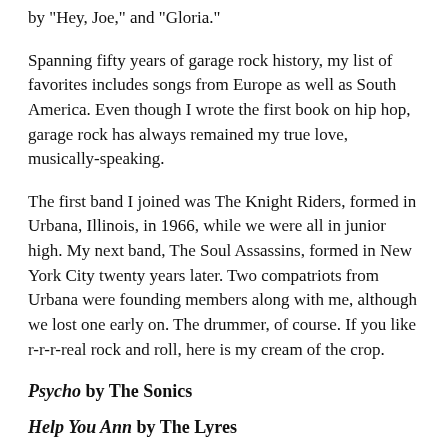by "Hey, Joe," and "Gloria."
Spanning fifty years of garage rock history, my list of favorites includes songs from Europe as well as South America. Even though I wrote the first book on hip hop, garage rock has always remained my true love, musically-speaking.
The first band I joined was The Knight Riders, formed in Urbana, Illinois, in 1966, while we were all in junior high. My next band, The Soul Assassins, formed in New York City twenty years later. Two compatriots from Urbana were founding members along with me, although we lost one early on. The drummer, of course. If you like r-r-r-real rock and roll, here is my cream of the crop.
Psycho by The Sonics
Help You Ann by The Lyres